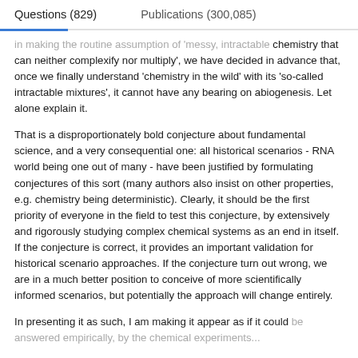Questions (829)    Publications (300,085)
in making the routine assumption of 'messy, intractable chemistry that can neither complexify nor multiply', we have decided in advance that, once we finally understand 'chemistry in the wild' with its 'so-called intractable mixtures', it cannot have any bearing on abiogenesis. Let alone explain it.
That is a disproportionately bold conjecture about fundamental science, and a very consequential one: all historical scenarios - RNA world being one out of many - have been justified by formulating conjectures of this sort (many authors also insist on other properties, e.g. chemistry being deterministic). Clearly, it should be the first priority of everyone in the field to test this conjecture, by extensively and rigorously studying complex chemical systems as an end in itself. If the conjecture is correct, it provides an important validation for historical scenario approaches. If the conjecture turn out wrong, we are in a much better position to conceive of more scientifically informed scenarios, but potentially the approach will change entirely.
In presenting it as such, I am making it appear as if it could be answered empirically, by the chemical experiments...